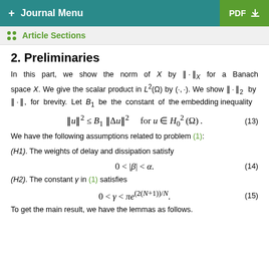+ Journal Menu | PDF
Article Sections
2. Preliminaries
In this part, we show the norm of X by ‖·‖_X for a Banach space X. We give the scalar product in L²(Ω) by (·,·). We show ‖·‖₂ by ‖·‖, for brevity. Let B₁ be the constant of the embedding inequality
We have the following assumptions related to problem (1):
(H1). The weights of delay and dissipation satisfy
(H2). The constant γ in (1) satisfies
To get the main result, we have the lemmas as follows.